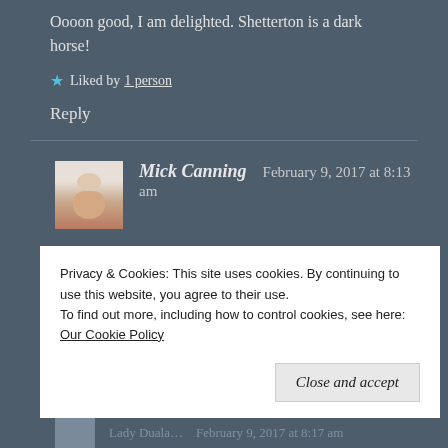Oooon good, I am delighted. Shetterton is a dark horse!
★ Liked by 1 person
Reply
Mick Canning  February 9, 2017 at 8:13 am
Bit of a stallion, apparently!
Privacy & Cookies: This site uses cookies. By continuing to use this website, you agree to their use.
To find out more, including how to control cookies, see here: Our Cookie Policy
Close and accept